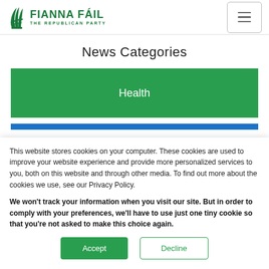[Figure (logo): Fianna Fáil – The Republican Party logo with green harp and party name]
News Categories
Health
This website stores cookies on your computer. These cookies are used to improve your website experience and provide more personalized services to you, both on this website and through other media. To find out more about the cookies we use, see our Privacy Policy.
We won't track your information when you visit our site. But in order to comply with your preferences, we'll have to use just one tiny cookie so that you're not asked to make this choice again.
Accept
Decline